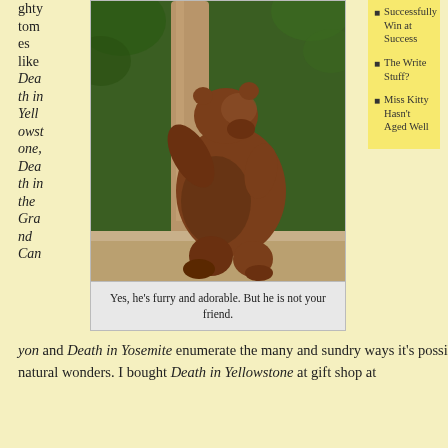ghty tomes like Death in Yellowstone, Death in the Grand Canyon
[Figure (photo): A large brown bear standing upright against a tree trunk in a forested area, leaning back with paws crossed.]
Yes, he's furry and adorable. But he is not your friend.
Successfully Win at Success
The Write Stuff?
Miss Kitty Hasn't Aged Well
yon and Death in Yosemite enumerate the many and sundry ways it's possible to get yourself killed in these natural wonders. I bought Death in Yellowstone at gift shop at